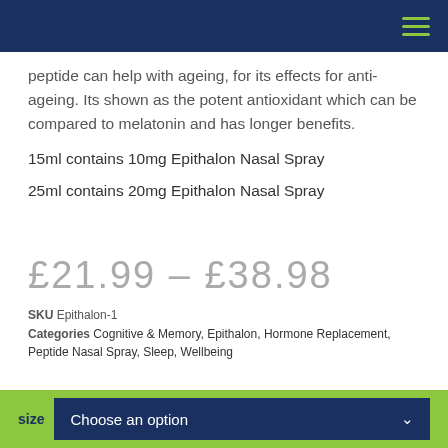peptide can help with ageing, for its effects for anti-ageing. Its shown as the potent antioxidant which can be compared to melatonin and has longer benefits.
15ml contains 10mg Epithalon Nasal Spray
25ml contains 20mg Epithalon Nasal Spray
£21.99 – £38.98
SKU Epithalon-1
Categories Cognitive & Memory, Epithalon, Hormone Replacement, Peptide Nasal Spray, Sleep, Wellbeing
size Choose an option